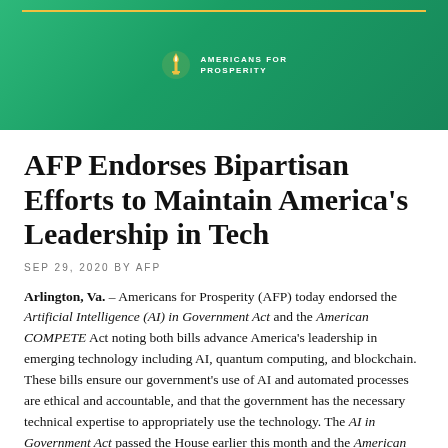[Figure (logo): Americans for Prosperity logo with torch icon and text on green gradient banner with gold top border line]
AFP Endorses Bipartisan Efforts to Maintain America's Leadership in Tech
SEP 29, 2020 BY AFP
Arlington, Va. – Americans for Prosperity (AFP) today endorsed the Artificial Intelligence (AI) in Government Act and the American COMPETE Act noting both bills advance America's leadership in emerging technology including AI, quantum computing, and blockchain. These bills ensure our government's use of AI and automated processes are ethical and accountable, and that the government has the necessary technical expertise to appropriately use the technology. The AI in Government Act passed the House earlier this month and the American COMPETE Act is expected to